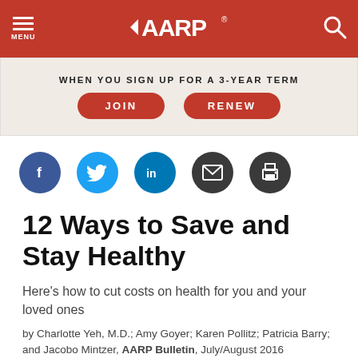MENU | AARP | Search
[Figure (other): AARP website advertisement banner with text 'WHEN YOU SIGN UP FOR A 3-YEAR TERM' and two red rounded buttons labeled JOIN and RENEW]
[Figure (infographic): Social sharing icons: Facebook (blue), Twitter (light blue), LinkedIn (blue), Email (dark), Print (dark)]
12 Ways to Save and Stay Healthy
Here's how to cut costs on health for you and your loved ones
by Charlotte Yeh, M.D.; Amy Goyer; Karen Pollitz; Patricia Barry; and Jacobo Mintzer, AARP Bulletin, July/August 2016